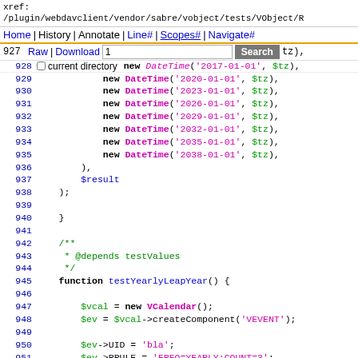xref:
/plugin/webdavclient/vendor/sabre/vobject/tests/VObject/R
Home | History | Annotate | Line# | Scopes# | Navigate#
927 Raw | Download  [search box] Search  tz),
928   new DateTime('2017-01-01', $tz),
current directory
929       new DateTime('2020-01-01', $tz),
930       new DateTime('2023-01-01', $tz),
931       new DateTime('2026-01-01', $tz),
932       new DateTime('2029-01-01', $tz),
933       new DateTime('2032-01-01', $tz),
934       new DateTime('2035-01-01', $tz),
935       new DateTime('2038-01-01', $tz),
936     ),
937     $result
938   );
939
940   }
941
942   /**
943    * @depends testValues
944    */
945   function testYearlyLeapYear() {
946
947     $vcal = new VCalendar();
948     $ev = $vcal->createComponent('VEVENT');
949
950     $ev->UID = 'bla';
951     $ev->RRULE = 'FREQ=YEARLY;COUNT=3';